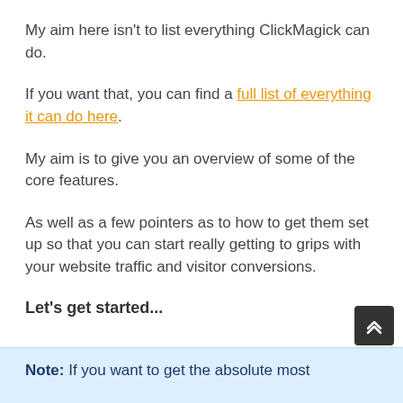My aim here isn't to list everything ClickMagick can do.
If you want that, you can find a full list of everything it can do here.
My aim is to give you an overview of some of the core features.
As well as a few pointers as to how to get them set up so that you can start really getting to grips with your website traffic and visitor conversions.
Let's get started...
Note: If you want to get the absolute most